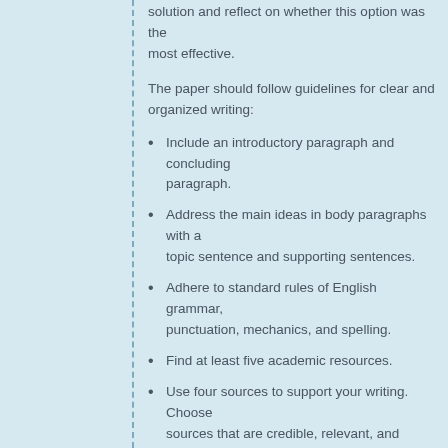solution and reflect on whether this option was the most effective.
The paper should follow guidelines for clear and organized writing:
Include an introductory paragraph and concluding paragraph.
Address the main ideas in body paragraphs with a topic sentence and supporting sentences.
Adhere to standard rules of English grammar, punctuation, mechanics, and spelling.
Find at least five academic resources.
Use four sources to support your writing. Choose sources that are credible, relevant, and appropriate. Cite each source listed on your source page at least one time within your assignment.
You will write a paper that presents a synthesis of